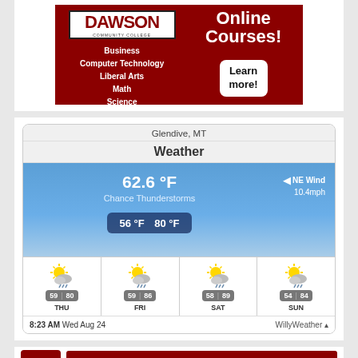[Figure (infographic): Dawson Community College advertisement for Online Courses featuring subject areas: Business, Computer Technology, Liberal Arts, Math, Science with a Learn more! button]
[Figure (infographic): WillyWeather widget showing Glendive, MT weather: 62.6°F Chance Thunderstorms, NE Wind 10.4mph, low 56°F high 80°F. 4-day forecast: THU 59/80, FRI 59/86, SAT 58/89, SUN 54/84. Timestamp 8:23 AM Wed Aug 24.]
[Figure (logo): Partial bottom section with red logo and red banner]